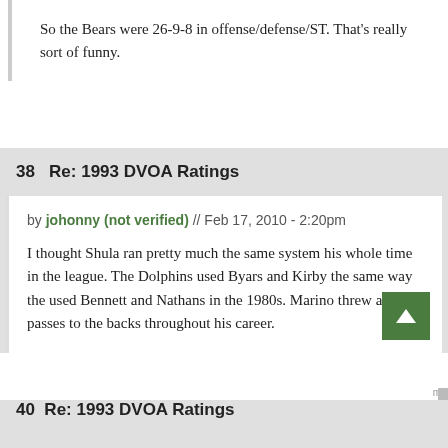So the Bears were 26-9-8 in offense/defense/ST. That's really sort of funny.
38  Re: 1993 DVOA Ratings
by johonny (not verified) // Feb 17, 2010 - 2:20pm
I thought Shula ran pretty much the same system his whole time in the league. The Dolphins used Byars and Kirby the same way the used Bennett and Nathans in the 1980s. Marino threw a lot of passes to the backs throughout his career.
40  Re: 1993 DVOA Ratings